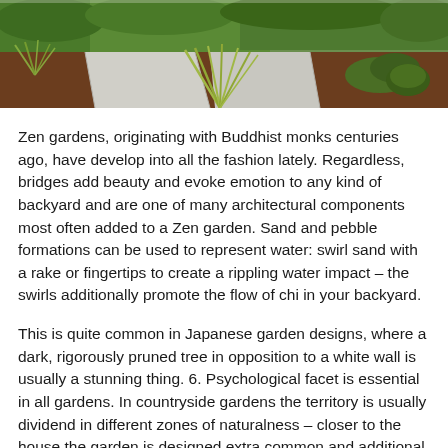[Figure (photo): Photograph of a Zen garden with ornamental grasses, mulched beds, stone pathways, and green plantings viewed from above and to the side.]
Zen gardens, originating with Buddhist monks centuries ago, have develop into all the fashion lately. Regardless, bridges add beauty and evoke emotion to any kind of backyard and are one of many architectural components most often added to a Zen garden. Sand and pebble formations can be used to represent water: swirl sand with a rake or fingertips to create a rippling water impact – the swirls additionally promote the flow of chi in your backyard.
This is quite common in Japanese garden designs, where a dark, rigorously pruned tree in opposition to a white wall is usually a stunning thing. 6. Psychological facet is essential in all gardens. In countryside gardens the territory is usually dividend in different zones of naturalness – closer to the house the garden is designed extra common and additional away it turns into more natural.